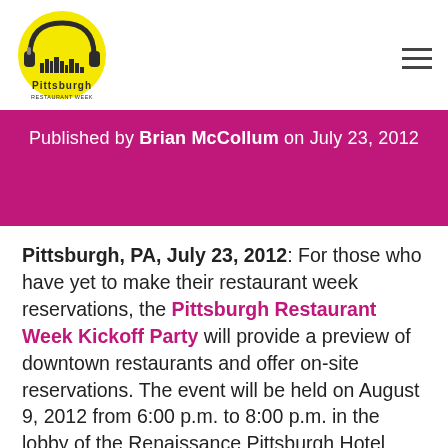[Figure (logo): Pittsburgh Restaurant Week logo — circular logo with yellow headphones, city skyline silhouette, and 'Pittsburgh' text]
Published by Brian McCollum on July 23, 2012
Pittsburgh, PA, July 23, 2012: For those who have yet to make their restaurant week reservations, the Pittsburgh Restaurant Week Kickoff Party will provide a preview of downtown restaurants and offer on-site reservations. The event will be held on August 9, 2012 from 6:00 p.m. to 8:00 p.m. in the lobby of the Renaissance Pittsburgh Hotel located in the heart of the Pittsburgh Cultural District. The cocktail party-style event will include festive summer cocktails, free samplings from PRW-participating downtown restaurants and charity raffles.